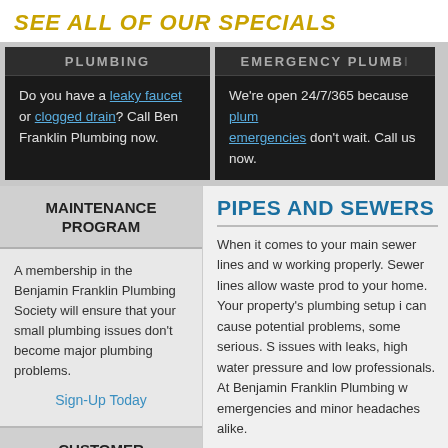SEE ALL OF OUR SPECIALS
PLUMBING — Do you have a leaky faucet or clogged drain? Call Ben Franklin Plumbing now.
EMERGENCY PLUMBING — We're open 24/7/365 because plumbing emergencies don't wait. Call us now.
MAINTENANCE PROGRAM
A membership in the Benjamin Franklin Plumbing Society will ensure that your small plumbing issues don't become major plumbing problems.
Sign-Up Today
CUSTOMER REVIEWS
"Everyone we have interacted with has been professional
PIPES AND SEWERS
When it comes to your main sewer lines and w working properly. Sewer lines allow waste prod to your home. Your property's plumbing setup i can cause potential problems, some serious. S issues with leaks, high water pressure and low professionals. At Benjamin Franklin Plumbing w emergencies and minor headaches alike.
Water Pipes
Today's water pipes are made from a variety of copper. They deliver water from the street or w